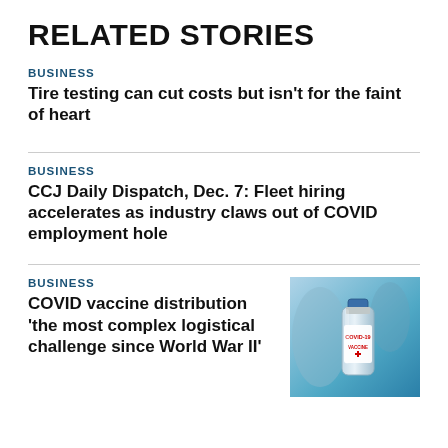RELATED STORIES
BUSINESS
Tire testing can cut costs but isn't for the faint of heart
BUSINESS
CCJ Daily Dispatch, Dec. 7: Fleet hiring accelerates as industry claws out of COVID employment hole
BUSINESS
COVID vaccine distribution 'the most complex logistical challenge since World War II'
[Figure (photo): A COVID-19 vaccine vial with a label reading 'COVID-19 VACCINE' held against a blue background with medical imagery]